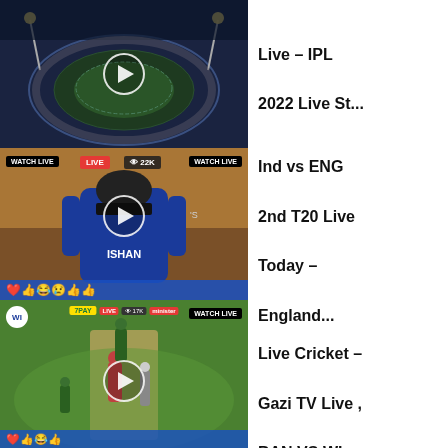[Figure (screenshot): Aerial night view of a cricket stadium with floodlights on, video thumbnail with play button overlay]
Live – IPL 2022 Live St...
[Figure (screenshot): Cricket player (Ishan) in India blue jersey seen from behind, live stream with WATCH LIVE badge, LIVE red badge, 22K viewers, emoji reaction bar]
Ind vs ENG 2nd T20 Live Today – England...
[Figure (screenshot): Live cricket match on field, BAN vs WI, Gazi TV Live stream, WATCH LIVE badge, sponsor bar visible]
Live Cricket – Gazi TV Live , BAN VS WI...